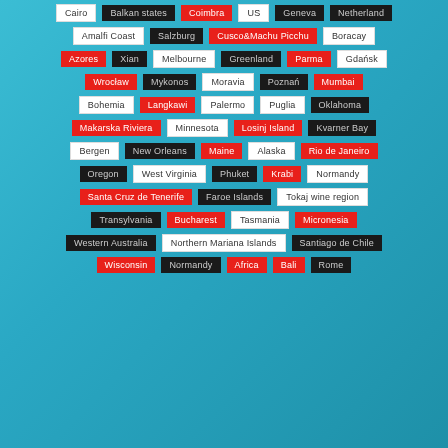[Figure (infographic): A grid of location/destination tags on a teal/blue background. Each tag is a colored pill/badge (black, white, or red) containing a place name. Rows include: Cairo, Balkan states, Coimbra, US, Geneva, Netherland; Amalfi Coast, Salzburg, Cusco&Machu Picchu, Boracay; Azores, Xian, Melbourne, Greenland, Parma, Gdańsk; Wrocław, Mykonos, Moravia, Poznań, Mumbai; Bohemia, Langkawi, Palermo, Puglia, Oklahoma; Makarska Riviera, Minnesota, Losinj Island, Kvarner Bay; Bergen, New Orleans, Maine, Alaska, Rio de Janeiro; Oregon, West Virginia, Phuket, Krabi, Normandy; Santa Cruz de Tenerife, Faroe Islands, Tokaj wine region; Transylvania, Bucharest, Tasmania, Micronesia; Western Australia, Northern Mariana Islands, Santiago de Chile; (partial row cut off at bottom)]